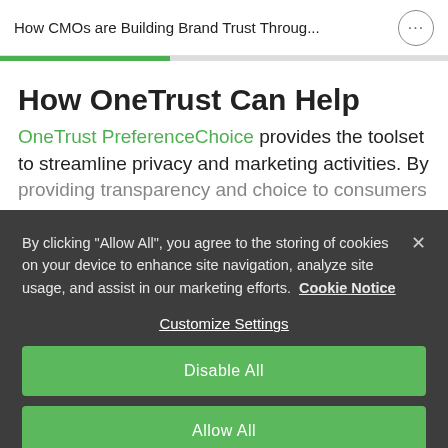How CMOs are Building Brand Trust Throug...
How OneTrust Can Help
OneTrust PreferenceChoice provides the toolset to streamline privacy and marketing activities. By providing transparency and choice to consumers
By clicking “Allow All”, you agree to the storing of cookies on your device to enhance site navigation, analyze site usage, and assist in our marketing efforts. Cookie Notice
Customize Settings
Disable All
Allow All